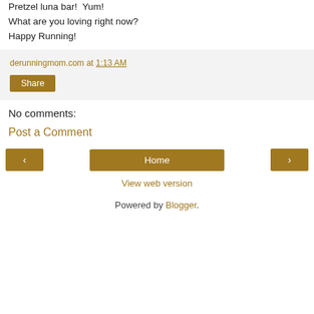Pretzel luna bar!  Yum!
What are you loving right now?
Happy Running!
derunningmom.com at 1:13 AM
Share
No comments:
Post a Comment
< Home >
View web version
Powered by Blogger.